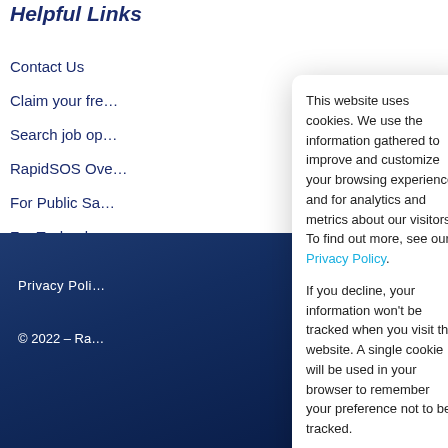Helpful Links
Contact Us
Claim your fre…
Search job op…
RapidSOS Ove…
For Public Sa…
For Technolog…
Privacy Poli…
© 2022 – Ra…
[Figure (screenshot): Cookie consent modal dialog with Accept and Decline buttons. Text reads: This website uses cookies. We use the information gathered to improve and customize your browsing experience and for analytics and metrics about our visitors. To find out more, see our Privacy Policy. If you decline, your information won't be tracked when you visit this website. A single cookie will be used in your browser to remember your preference not to be tracked.]
English